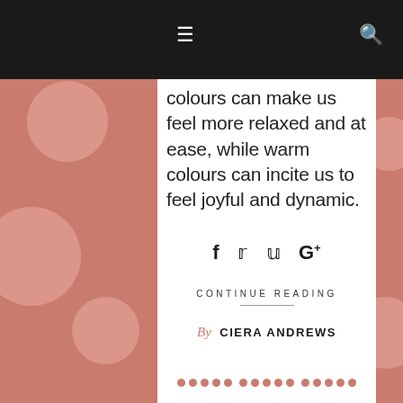≡  🔍
colours can make us feel more relaxed and at ease, while warm colours can incite us to feel joyful and dynamic.
CONTINUE READING
[Figure (other): Social media share icons: Facebook, Twitter, Pinterest, Google+]
By CIERA ANDREWS
[Figure (other): Pagination dots row of 15 circles in salmon/coral color]